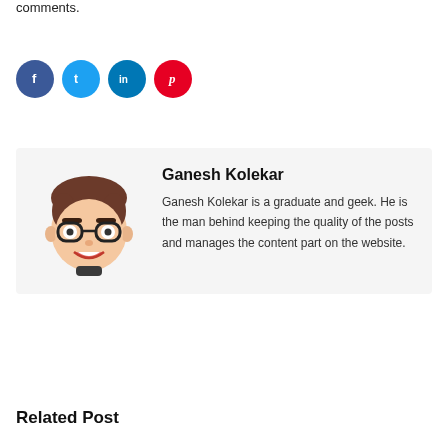comments.
[Figure (infographic): Four social media share buttons: Facebook (blue circle, f), Twitter (light blue circle, bird/t), LinkedIn (blue circle, in), Pinterest (red circle, p)]
Ganesh Kolekar
Ganesh Kolekar is a graduate and geek. He is the man behind keeping the quality of the posts and manages the content part on the website.
Related Post